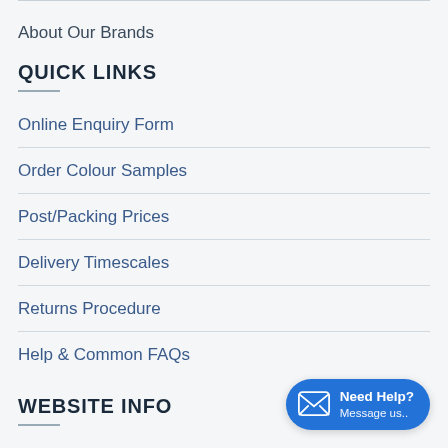About Our Brands
QUICK LINKS
Online Enquiry Form
Order Colour Samples
Post/Packing Prices
Delivery Timescales
Returns Procedure
Help & Common FAQs
WEBSITE INFO
Login To Your Account